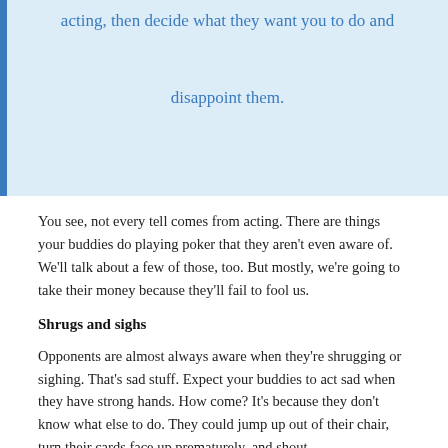acting, then decide what they want you to do and

disappoint them.
You see, not every tell comes from acting. There are things your buddies do playing poker that they aren't even aware of. We'll talk about a few of those, too. But mostly, we're going to take their money because they'll fail to fool us.
Shrugs and sighs
Opponents are almost always aware when they're shrugging or sighing. That's sad stuff. Expect your buddies to act sad when they have strong hands. How come? It's because they don't know what else to do. They could jump up out of their chair, turn their cards face up prematurely, and shout